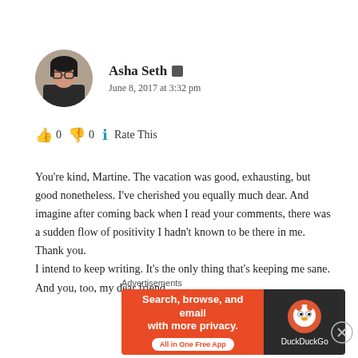Asha Seth  [pin icon]
June 8, 2017 at 3:32 pm
👍 0  👎 0  ℹ Rate This
You're kind, Martine. The vacation was good, exhausting, but good nonetheless. I've cherished you equally much dear. And imagine after coming back when I read your comments, there was a sudden flow of positivity I hadn't known to be there in me. Thank you.
I intend to keep writing. It's the only thing that's keeping me sane. And you, too, my dear friend.
Advertisements
[Figure (screenshot): DuckDuckGo advertisement banner: orange left panel with text 'Search, browse, and email with more privacy. All in One Free App', dark right panel with DuckDuckGo logo and text 'DuckDuckGo']